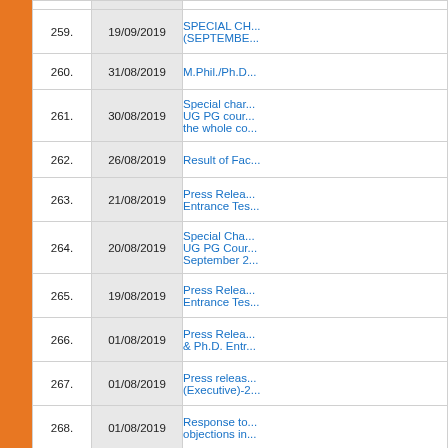| # | Date | Title |
| --- | --- | --- |
| 259. | 19/09/2019 | SPECIAL CH... (SEPTEMBER... |
| 260. | 31/08/2019 | M.Phil./Ph.D... |
| 261. | 30/08/2019 | Special char... UG PG cour... the whole co... |
| 262. | 26/08/2019 | Result of Fac... |
| 263. | 21/08/2019 | Press Relea... Entrance Tes... |
| 264. | 20/08/2019 | Special Cha... UG PG Cour... September 2... |
| 265. | 19/08/2019 | Press Relea... Entrance Tes... |
| 266. | 01/08/2019 | Press Relea... & Ph.D. Entr... |
| 267. | 01/08/2019 | Press releas... (Executive)-2... |
| 268. | 01/08/2019 | Response to... objections in... |
| 269. | 31/07/2019 | CHANGE OF... |